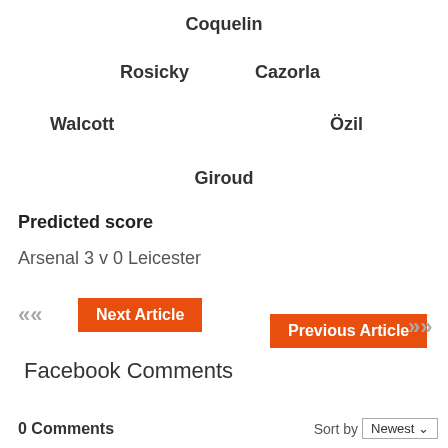Coquelin
Rosicky    Cazorla
Walcott    Özil
Giroud
Predicted score
Arsenal 3 v 0 Leicester
<< Next Article   Previous Article >>
Facebook Comments
0 Comments    Sort by Newest